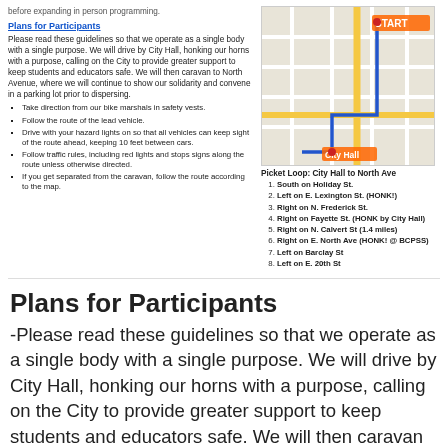before expanding in person programming.
Plans for Participants
Please read these guidelines so that we operate as a single body with a single purpose. We will drive by City Hall, honking our horns with a purpose, calling on the City to provide greater support to keep students and educators safe. We will then caravan to North Avenue, where we will continue to show our solidarity and convene in a parking lot prior to dispersing.
Take direction from our bike marshals in safety vests.
Follow the route of the lead vehicle.
Drive with your hazard lights on so that all vehicles can keep sight of the route ahead, keeping 10 feet between cars.
Follow traffic rules, including red lights and stops signs along the route unless otherwise directed.
If you get separated from the caravan, follow the route according to the map.
[Figure (map): Street map showing a route from START near North Ave to City Hall, with a blue route line and yellow roads highlighted.]
Picket Loop: City Hall to North Ave
South on Holiday St.
Left on E. Lexington St. (HONK!)
Right on N. Frederick St.
Right on Fayette St. (HONK by City Hall)
Right on N. Calvert St (1.4 miles)
Right on E. North Ave (HONK! @ BCPSS)
Left on Barclay St
Left on E. 20th St
Plans for Participants
-Please read these guidelines so that we operate as a single body with a single purpose. We will drive by City Hall, honking our horns with a purpose, calling on the City to provide greater support to keep students and educators safe. We will then caravan to North Avenue, where we will